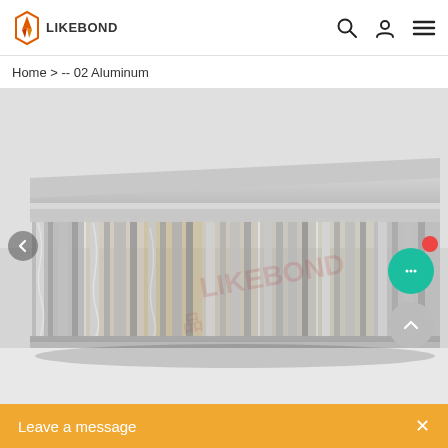LIKEBOND [logo] | search icon | user icon | menu icon
Home > -- 02 Aluminum
[Figure (photo): Close-up photograph of an aluminum honeycomb panel cross-section showing corrugated metallic foil cells in a row, with shiny silver aluminum foil forming the honeycomb structure, viewed from the side at an angle on a white background. A semi-transparent watermark reading 'LIKEBOND' is visible.]
Leave a message